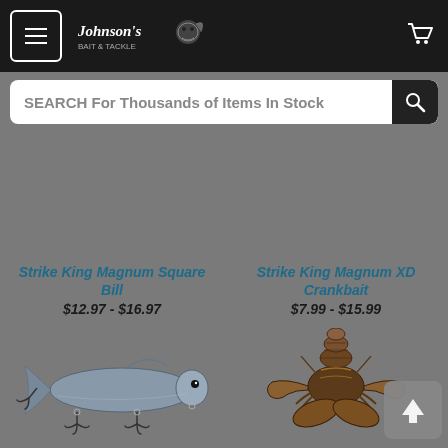Johnson's Bait & Tackle — navigation header with menu and cart
SEARCH For Thousands of Items In Stock
[Figure (photo): Fishing lure product image for Strike King Magnum Square Bill (upper left, no image visible)]
Strike King Magnum Square Bill
$12.97 - $16.97
[Figure (photo): Fishing lure product image for Strike King Magnum XD Crankbait (upper right, no image visible)]
Strike King Magnum XD Crankbait
$7.99 - $15.99
[Figure (photo): Photo of a silver/blue jointed fishing lure (Strike King Mega Dawg) with treble hooks]
Strike King Mega Dawg
$18.99
[Figure (photo): Photo of a dark brown/gold soft plastic crawfish-style bait (Strike King Midsize Rage Bugs)]
Strike King Midsize Rage Bugs